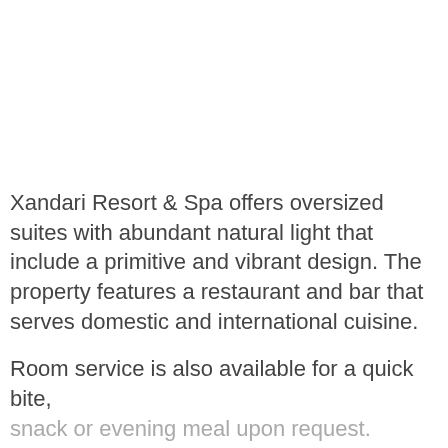Xandari Resort & Spa offers oversized suites with abundant natural light that include a primitive and vibrant design. The property features a restaurant and bar that serves domestic and international cuisine.
Room service is also available for a quick bite, snack or evening meal upon request.